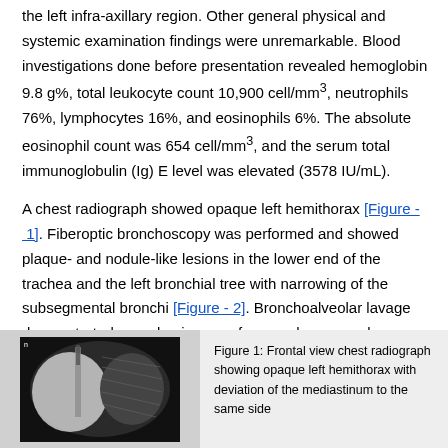the left infra-axillary region. Other general physical and systemic examination findings were unremarkable. Blood investigations done before presentation revealed hemoglobin 9.8 g%, total leukocyte count 10,900 cell/mm3, neutrophils 76%, lymphocytes 16%, and eosinophils 6%. The absolute eosinophil count was 654 cell/mm3, and the serum total immunoglobulin (Ig) E level was elevated (3578 IU/mL).
A chest radiograph showed opaque left hemithorax [Figure - 1]. Fiberoptic bronchoscopy was performed and showed plaque- and nodule-like lesions in the lower end of the trachea and the left bronchial tree with narrowing of the subsegmental bronchi [Figure - 2]. Bronchoalveolar lavage demonstrated a predominance of macrophages, and histopathological examination of the bronchial biopsy sample taken from the nodular lesion showed features of eosinophilic bronchitis, however, no granulomas or features of vasculitis were observed [Figure - 3].
[Figure (photo): Chest X-ray radiograph showing opaque left hemithorax]
Figure 1: Frontal view chest radiograph showing opaque left hemithorax with deviation of the mediastinum to the same side